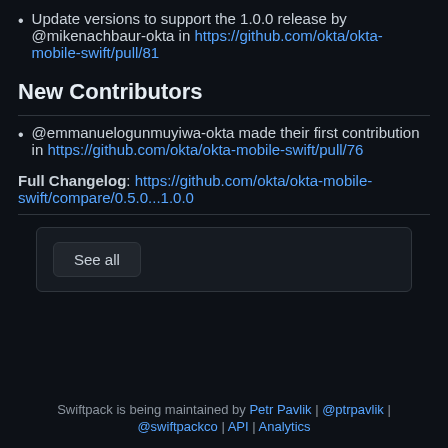Update versions to support the 1.0.0 release by @mikenachbaur-okta in https://github.com/okta/okta-mobile-swift/pull/81
New Contributors
@emmanuelogunmuyiwa-okta made their first contribution in https://github.com/okta/okta-mobile-swift/pull/76
Full Changelog: https://github.com/okta/okta-mobile-swift/compare/0.5.0...1.0.0
See all
Swiftpack is being maintained by Petr Pavlik | @ptrpavlik | @swiftpackco | API | Analytics